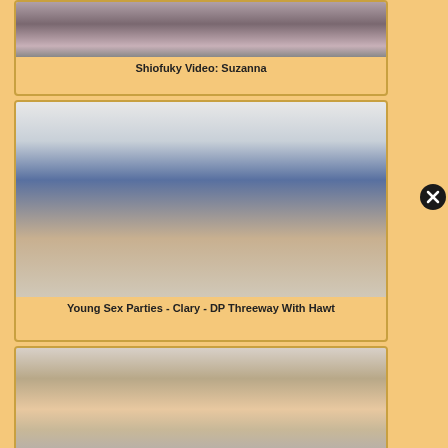[Figure (photo): Partial view of a woman's face — top portion cropped]
Shiofuky Video: Suzanna
[Figure (photo): Two people kissing — man in blue jacket and woman in gray skirt in a room]
Young Sex Parties - Clary - DP Threeway With Hawt
[Figure (photo): Three women sitting/standing together, one with a microphone]
[Figure (other): Close button (X) overlay on the right side]